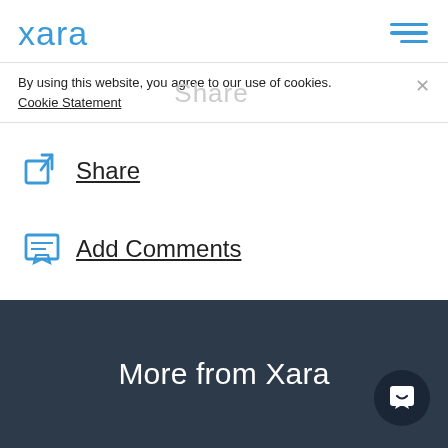Xara [logo] [hamburger menu]
By using this website, you agree to our use of cookies. Cookie Statement
Share
Add Comments
Slideshow NEW
More from Xara